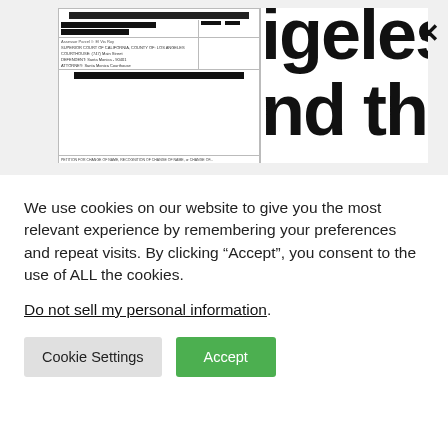[Figure (screenshot): Partial screenshot of a government form document overlaid with large bold text reading 'igeles C' and 'nd th' (Los Angeles County), with a close/X button in the top right corner.]
We use cookies on our website to give you the most relevant experience by remembering your preferences and repeat visits. By clicking “Accept”, you consent to the use of ALL the cookies.
Do not sell my personal information.
Cookie Settings  Accept